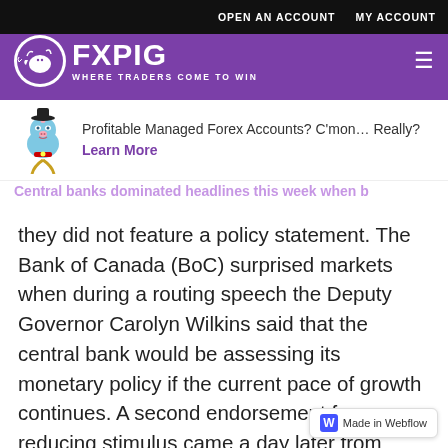OPEN AN ACCOUNT   MY ACCOUNT
[Figure (logo): FXPIG logo - circular icon with pig graphic and text 'FXPIG WHERE TRADERS COME TO WIN' on purple background]
[Figure (illustration): FXPIG blue genie pig mascot illustration]
Profitable Managed Forex Accounts? C'mon… Really?
Learn More
they did not feature a policy statement. The Bank of Canada (BoC) surprised markets when during a routing speech the Deputy Governor Carolyn Wilkins said that the central bank would be assessing its monetary policy if the current pace of growth continues. A second endorsement for reducing stimulus came a day later from Governor Stephen Poloz when he said the rate cuts from two years ago had done their job. The Fed was the only central bank to modify its monetary policy but the Bank of England (BoE) delivered a hawkish vote count in
Made in Webflow